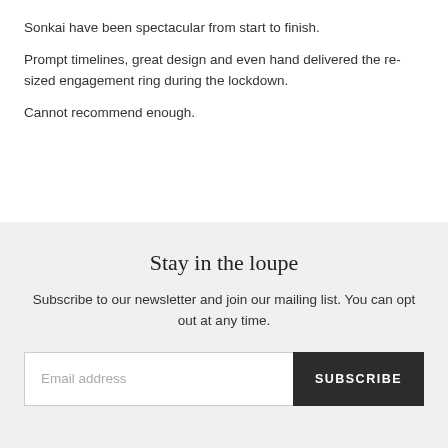Sonkai have been spectacular from start to finish.
Prompt timelines, great design and even hand delivered the re-sized engagement ring during the lockdown.
Cannot recommend enough.
Stay in the loupe
Subscribe to our newsletter and join our mailing list. You can opt out at any time.